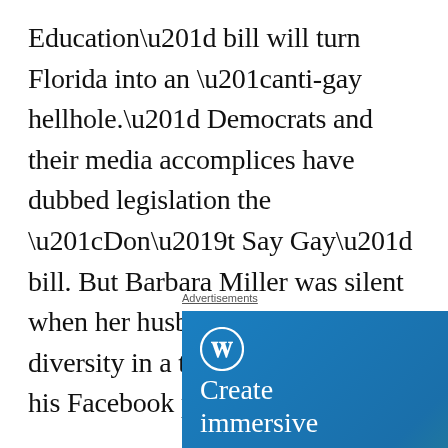Education” bill will turn Florida into an “anti-gay hellhole.” Democrats and their media accomplices have dubbed legislation the “Don’t Say Gay” bill. But Barbara Miller was silent when her husband mocked diversity in a transphobic screed on his Facebook page.
Advertisements
[Figure (other): WordPress advertisement showing the WordPress logo (W in circle), text 'Create immersive' and a phone mockup showing 'VISITING SKÓGAFOSS' label, on a blue-to-green gradient background.]